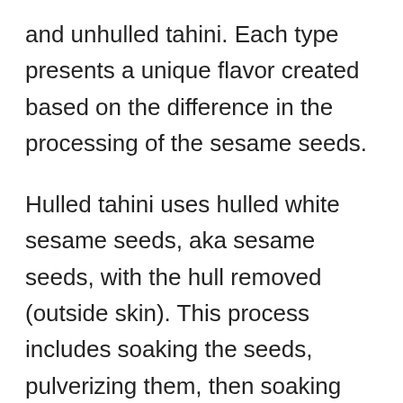and unhulled tahini. Each type presents a unique flavor created based on the difference in the processing of the sesame seeds.
Hulled tahini uses hulled white sesame seeds, aka sesame seeds, with the hull removed (outside skin). This process includes soaking the seeds, pulverizing them, then soaking them again to make removing the hull much easier. You can note a lighter color and sweeter taste when purchasing hulled tahini.
Unhulled tahini uses the whole sesame seeds